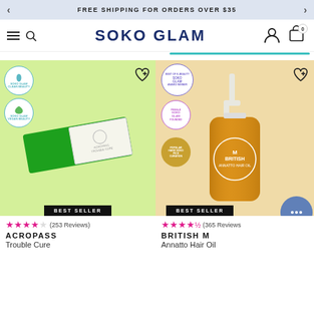FREE SHIPPING FOR ORDERS OVER $35
SOKO GLAM
[Figure (photo): Product photo of Acropass Trouble Cure microneedle patches on green background with clean beauty and vegan beauty badges]
★★★★☆ (253 Reviews)
ACROPASS
Trouble Cure
[Figure (photo): Product photo of British M Annatto Hair Oil pump bottle on peach background with multiple award badges]
★★★★½ (365 Reviews)
BRITISH M
Annatto Hair Oil